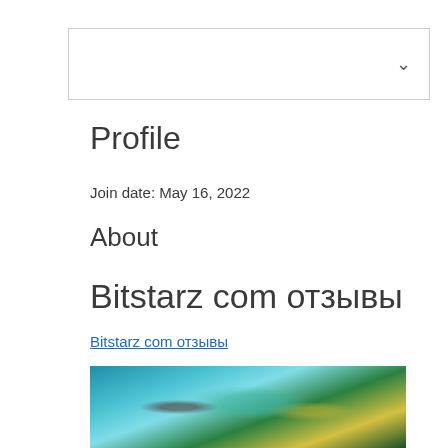[Figure (other): Dropdown/select box UI element with a chevron arrow on the right side]
Profile
Join date: May 16, 2022
About
Bitstarz com отзывы
Bitstarz com отзывы
[Figure (screenshot): Screenshot of a gaming or casino website with colorful characters on a teal/green background]